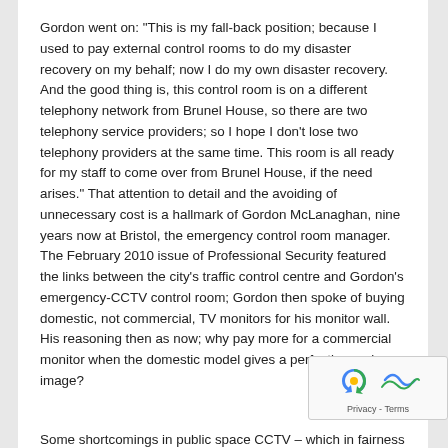Gordon went on: "This is my fall-back position; because I used to pay external control rooms to do my disaster recovery on my behalf; now I do my own disaster recovery. And the good thing is, this control room is on a different telephony network from Brunel House, so there are two telephony service providers; so I hope I don't lose two telephony providers at the same time. This room is all ready for my staff to come over from Brunel House, if the need arises." That attention to detail and the avoiding of unnecessary cost is a hallmark of Gordon McLanaghan, nine years now at Bristol, the emergency control room manager. The February 2010 issue of Professional Security featured the links between the city's traffic control centre and Gordon's emergency-CCTV control room; Gordon then spoke of buying domestic, not commercial, TV monitors for his monitor wall. His reasoning then as now; why pay more for a commercial monitor when the domestic model gives a perfectly good image?
Some shortcomings in public space CCTV – which in fairness apply as much to private-space systems also – have arisen